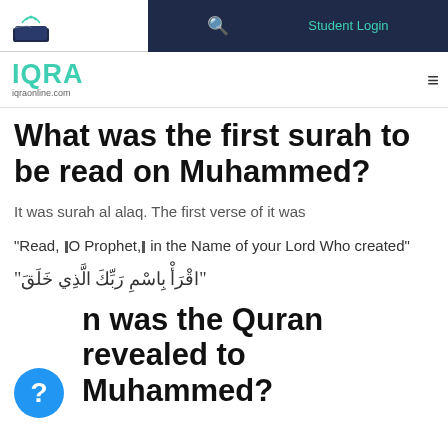IQRA iqraonline.com | Student Login
What was the first surah to be read on Muhammed?
It was surah al alaq. The first verse of it was
“Read, ØO Prophet,Ø in the Name of your Lord Who created”
“اقْرَأْ باسْمِ رَبِّكَ الَّذِي خَلَقَ”
When was the Quran revealed to Muhammed?